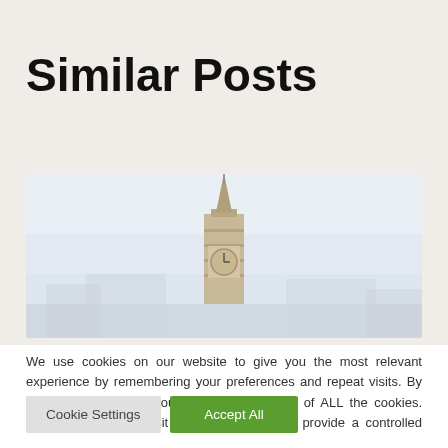Similar Posts
[Figure (photo): Photo of Big Ben clock tower in London against a light sky, showing just the top spire and upper portion of the tower]
We use cookies on our website to give you the most relevant experience by remembering your preferences and repeat visits. By clicking “Accept All”, you consent to the use of ALL the cookies. However, you may visit "Cookie Settings" to provide a controlled consent.
Cookie Settings
Accept All